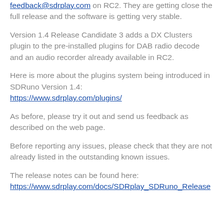feedback@sdrplay.com on RC2. They are getting close the full release and the software is getting very stable.
Version 1.4 Release Candidate 3 adds a DX Clusters plugin to the pre-installed plugins for DAB radio decode and an audio recorder already available in RC2.
Here is more about the plugins system being introduced in SDRuno Version 1.4:
https://www.sdrplay.com/plugins/
As before, please try it out and send us feedback as described on the web page.
Before reporting any issues, please check that they are not already listed in the outstanding known issues.
The release notes can be found here:
https://www.sdrplay.com/docs/SDRplay_SDRuno_Release